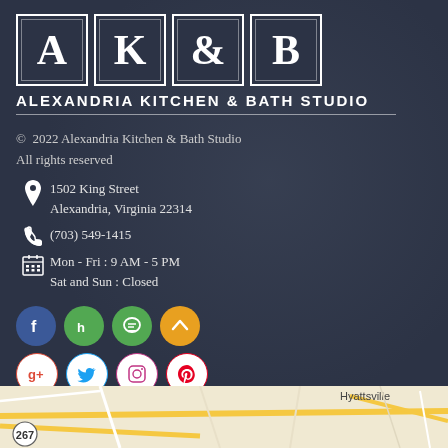[Figure (logo): AK&B Alexandria Kitchen & Bath Studio logo with four letter boxes]
© 2022 Alexandria Kitchen & Bath Studio
All rights reserved
1502 King Street
Alexandria, Virginia 22314
(703) 549-1415
Mon - Fri : 9 AM - 5 PM
Sat and Sun : Closed
[Figure (illustration): Social media icons row 1: Facebook, Houzz, NextDoor/Chat, Houzz/Cabot]
[Figure (illustration): Social media icons row 2: Google+, Twitter, Instagram, Pinterest]
[Figure (map): Map strip showing area around Alexandria Virginia]